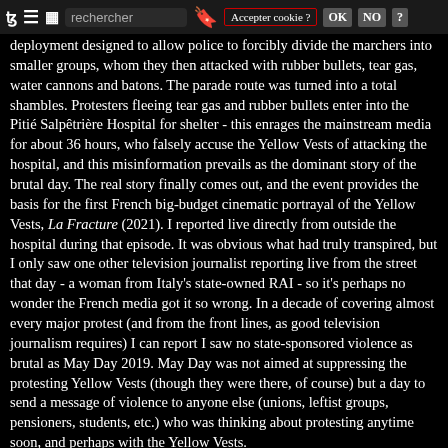Toolbar with navigation icons, search field, bookmark, cookie prompt
deployment designed to allow police to forcibly divide the marchers into smaller groups, whom they then attacked with rubber bullets, tear gas, water cannons and batons. The parade route was turned into a total shambles. Protesters fleeing tear gas and rubber bullets enter into the Pitié Salpêtrière Hospital for shelter - this enrages the mainstream media for about 36 hours, who falsely accuse the Yellow Vests of attacking the hospital, and this misinformation prevails as the dominant story of the brutal day. The real story finally comes out, and the event provides the basis for the first French big-budget cinematic portrayal of the Yellow Vests, La Fracture (2021). I reported live directly from outside the hospital during that episode. It was obvious what had truly transpired, but I only saw one other television journalist reporting live from the street that day - a woman from Italy's state-owned RAI - so it's perhaps no wonder the French media got it so wrong. In a decade of covering almost every major protest (and from the front lines, as good television journalism requires) I can report I saw no state-sponsored violence as brutal as May Day 2019. May Day was not aimed at suppressing the protesting Yellow Vests (though they were there, of course) but a day to send a message of violence to anyone else (unions, leftist groups, pensioners, students, etc.) who was thinking about protesting anytime soon, and perhaps with the Yellow Vests.